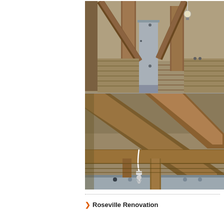[Figure (photo): Two stacked photographs of attic/roof structural timber framing. Top photo shows vertical timber posts, diagonal rafters, and a grey painted structural element (likely a beam or header) with a light bulb hanging in the attic space. Bottom photo shows diagonal timber rafters and bracing in an attic, with white electrical wiring and a connector/fixture hanging down, and grey structural metalwork at the base.]
Roseville Renovation